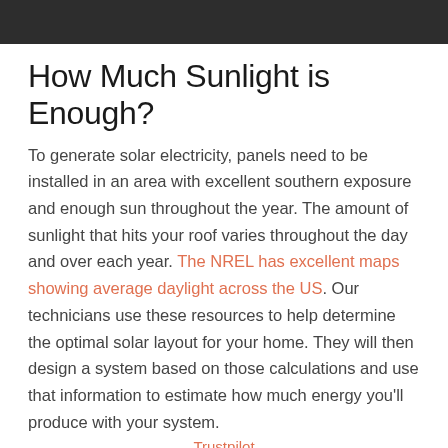[Figure (photo): Dark photograph at the top of the page, partially cropped]
How Much Sunlight is Enough?
To generate solar electricity, panels need to be installed in an area with excellent southern exposure and enough sun throughout the year. The amount of sunlight that hits your roof varies throughout the day and over each year. The NREL has excellent maps showing average daylight across the US. Our technicians use these resources to help determine the optimal solar layout for your home. They will then design a system based on those calculations and use that information to estimate how much energy you'll produce with your system.
Trustpilot
What if Something Happens to my Roof?